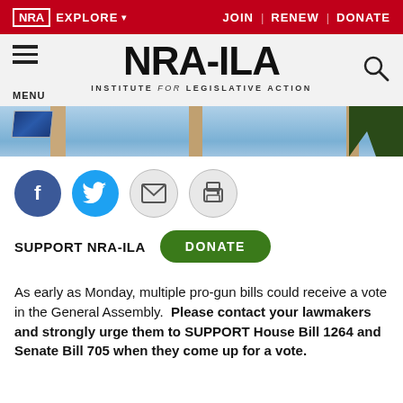NRA EXPLORE ▾  JOIN | RENEW | DONATE
[Figure (logo): NRA-ILA Institute for Legislative Action logo with hamburger menu and search icon]
[Figure (photo): Banner photo of outdoor scene with columns and flag against blue sky]
[Figure (infographic): Social sharing icons: Facebook, Twitter, Email, Print]
SUPPORT NRA-ILA   DONATE
As early as Monday, multiple pro-gun bills could receive a vote in the General Assembly.  Please contact your lawmakers and strongly urge them to SUPPORT House Bill 1264 and Senate Bill 705 when they come up for a vote.